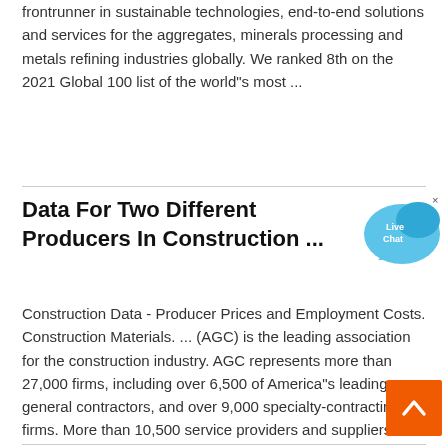frontrunner in sustainable technologies, end-to-end solutions and services for the aggregates, minerals processing and metals refining industries globally. We ranked 8th on the 2021 Global 100 list of the world"s most ...
Data For Two Different Producers In Construction ...
Construction Data - Producer Prices and Employment Costs. Construction Materials. ... (AGC) is the leading association for the construction industry. AGC represents more than 27,000 firms, including over 6,500 of America"s leading general contractors, and over 9,000 specialty-contracting firms. More than 10,500 service providers and suppliers ...
[Figure (other): Live Chat bubble icon in blue]
[Figure (other): Back to top orange button with upward chevron]